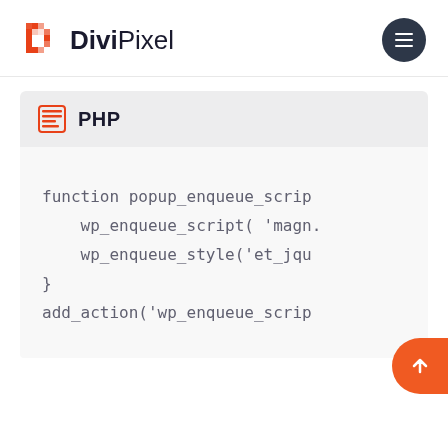[Figure (logo): DiviPixel logo with orange pixel-D icon and bold text]
PHP
function popup_enqueue_scrip
    wp_enqueue_script( 'magn.
    wp_enqueue_style('et_jqu
}
add_action('wp_enqueue_scrip